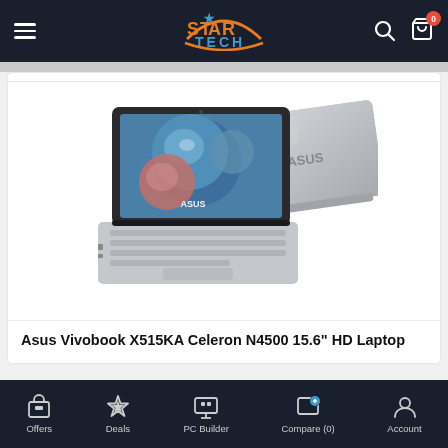Star Tech - Total IT Solution
[Figure (photo): Asus Vivobook X515KA laptop product photo showing front view (open, with blue bubble wallpaper on screen) and back/side view in silver color]
Asus Vivobook X515KA Celeron N4500 15.6" HD Laptop
Offers | Deals | PC Builder | Compare (0) | Account